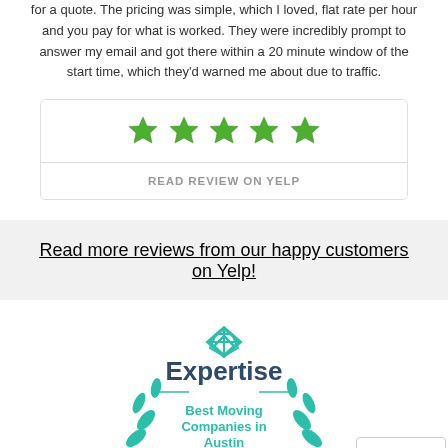for a quote. The pricing was simple, which I loved, flat rate per hour and you pay for what is worked. They were incredibly prompt to answer my email and got there within a 20 minute window of the start time, which they'd warned me about due to traffic.
[Figure (other): Five green star rating inside a bordered box with 'READ REVIEW ON YELP' link below]
Read more reviews from our happy customers on Yelp!
[Figure (logo): Expertise badge - Best Moving Companies in Austin 2020, with teal laurel wreath and diamond logo]